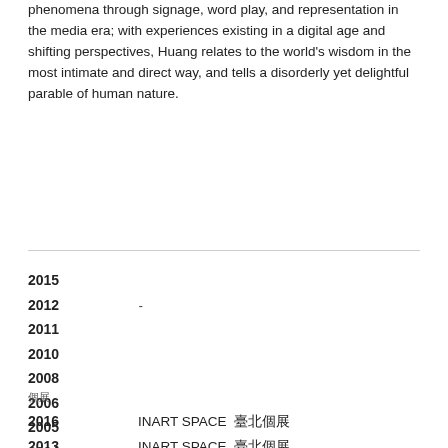phenomena through signage, word play, and representation in the media era; with experiences existing in a digital age and shifting perspectives, Huang relates to the world's wisdom in the most intimate and direct way, and tells a disorderly yet delightful parable of human nature.
2015
2012   -
2011
2010
2008
2006
2005
2004   -
2003
個展
2016   INART SPACE  臺北個展
2013   INART SPACE  臺北個展